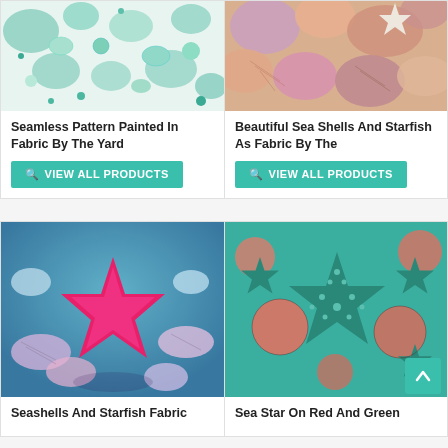[Figure (photo): Seamless pattern with painted sea shells and teal/green elements on white background]
Seamless Pattern Painted In Fabric By The Yard
VIEW ALL PRODUCTS
[Figure (photo): Beautiful sea shells and starfish in pink, purple, orange tones]
Beautiful Sea Shells And Starfish As Fabric By The
VIEW ALL PRODUCTS
[Figure (photo): Seashells and starfish fabric - bright pink/magenta starfish with colorful shells on blue background]
Seashells And Starfish Fabric
[Figure (photo): Sea star on red and green pattern - teal mosaic starfish with coral/red circular elements on teal background]
Sea Star On Red And Green